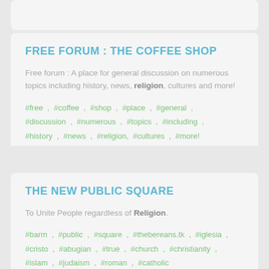FREE FORUM : THE COFFEE SHOP
Free forum : A place for general discussion on numerous topics including history, news, religion, cultures and more!
#free , #coffee , #shop , #place , #general , #discussion , #numerous , #topics , #including , #history , #news , #religion, #cultures , #more!
THE NEW PUBLIC SQUARE
To Unite People regardless of Religion.
#barm , #public , #square , #thebereans.tk , #iglesia , #cristo , #abugian , #true , #church , #christianity , #islam , #judaism , #roman , #catholic